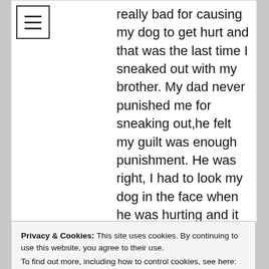really bad for causing my dog to get hurt and that was the last time I sneaked out with my brother. My dad never punished me for sneaking out,he felt my guilt was enough punishment. He was right, I had to look my dog in the face when he was hurting and it was my fault. I cried like he died,instead of just getting hurt,so much was my guilt and pain. He lived for many years afterwards and he always protected me. He
Privacy & Cookies: This site uses cookies. By continuing to use this website, you agree to their use.
To find out more, including how to control cookies, see here: Cookie Policy